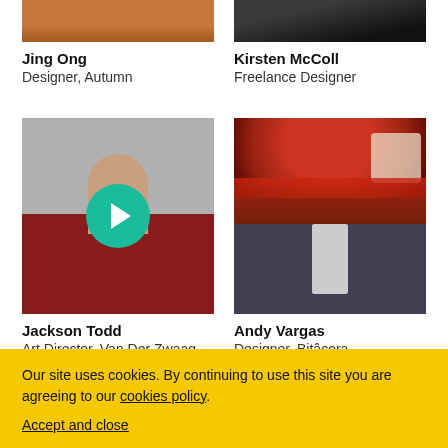[Figure (photo): Partial photo of Jing Ong, showing torso in orange/rust sweater, cropped at top]
[Figure (photo): Partial photo of Kirsten McColl, dark background, figure in black top, cropped at top]
Jing Ong
Designer, Autumn
Kirsten McColl
Freelance Designer
[Figure (photo): Photo of Jackson Todd, young man in red sweatshirt against light gray background, with teal play button overlay]
[Figure (photo): Photo of Andy Vargas, woman with sunglasses in front of espresso bar mural with Brooklyn Bridge illustration]
Jackson Todd
Art Director, Van Der Zwaag
Andy Vargas
Designer, Bitâcora
Our site uses cookies. By continuing to use this site you are agreeing to our cookies policy.
Accept and close